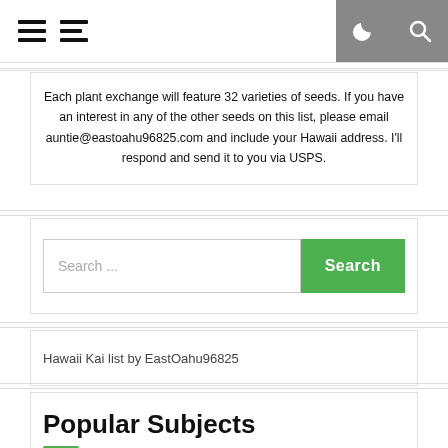Navigation header with hamburger menus and dark mode/search icons
Each plant exchange will feature 32 varieties of seeds. If you have an interest in any of the other seeds on this list, please email auntie@eastoahu96825.com and include your Hawaii address. I'll respond and send it to you via USPS.
Search ...
Hawaii Kai list by EastOahu96825
Popular Subjects